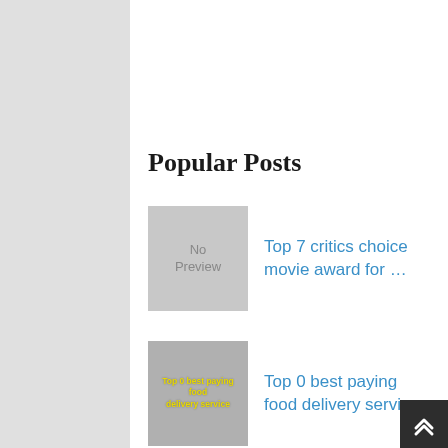Popular Posts
Top 7 critics choice movie award for …
Top 0 best paying food delivery service
Top 7 how to reset honda accord …